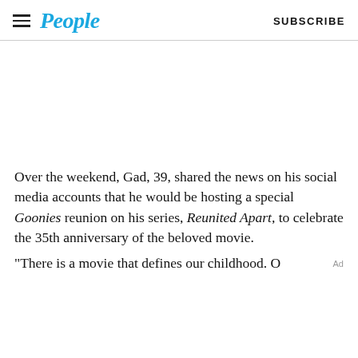People — SUBSCRIBE
[Figure (other): Advertisement/blank image space]
Over the weekend, Gad, 39, shared the news on his social media accounts that he would be hosting a special Goonies reunion on his series, Reunited Apart, to celebrate the 35th anniversary of the beloved movie.
"There is a movie that defines our childhood. O